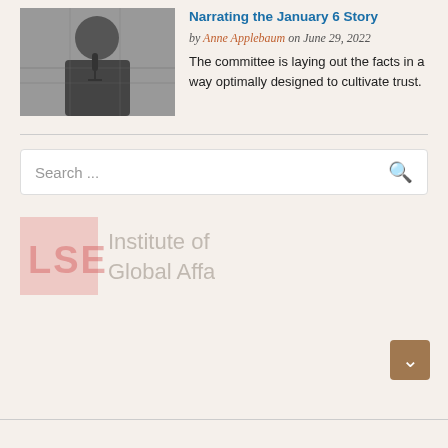Narrating the January 6 Story
by Anne Applebaum on June 29, 2022
[Figure (photo): Black and white photo of a man in a suit at what appears to be a hearing or formal event]
The committee is laying out the facts in a way optimally designed to cultivate trust.
Search ...
[Figure (logo): LSE Institute of Global Affairs logo — red LSE square logo with text 'Institute of Global Affairs']